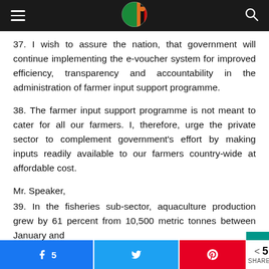Navigation bar with hamburger menu, Zambia flag logo, and search icon
37. I wish to assure the nation, that government will continue implementing the e-voucher system for improved efficiency, transparency and accountability in the administration of farmer input support programme.
38. The farmer input support programme is not meant to cater for all our farmers. I, therefore, urge the private sector to complement government's effort by making inputs readily available to our farmers country-wide at affordable cost.
Mr. Speaker,
39. In the fisheries sub-sector, aquaculture production grew by 61 percent from 10,500 metric tonnes between January and
Facebook 5 | Twitter | Pinterest | < 5 SHARES